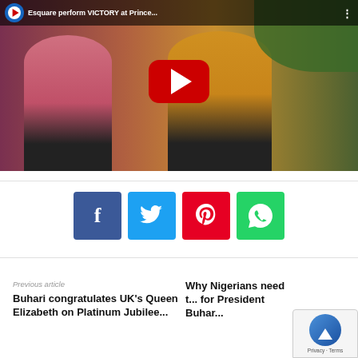[Figure (screenshot): YouTube video thumbnail showing two people dancing/celebrating. Title overlay reads 'Esquare perform VICTORY at Prince...' with YouTube logo and three-dot menu in top bar. Large red YouTube play button in center.]
[Figure (infographic): Four social media share buttons in a row: Facebook (blue, f icon), Twitter (cyan, bird icon), Pinterest (red, P icon), WhatsApp (green, phone icon)]
Previous article
Buhari congratulates UK's Queen Elizabeth on Platinum Jubilee...
Why Nigerians need t... for President Buhar... - Pemi... Advi...